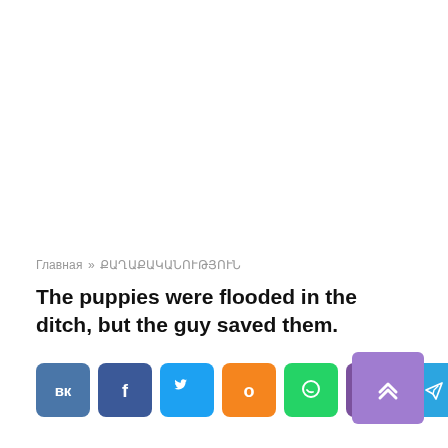Главная » ՔԱՂԱՔԱԿԱՆՈՒԹՅՈՒՆ
The puppies were flooded in the ditch, but the guy saved them.
[Figure (infographic): Social sharing buttons: VK, Facebook, Twitter, Odnoklassniki, WhatsApp, Viber, Telegram]